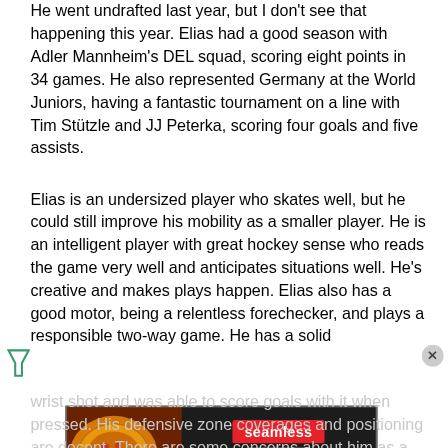He went undrafted last year, but I don't see that happening this year. Elias had a good season with Adler Mannheim's DEL squad, scoring eight points in 34 games. He also represented Germany at the World Juniors, having a fantastic tournament on a line with Tim Stützle and JJ Peterka, scoring four goals and five assists.
Elias is an undersized player who skates well, but he could still improve his mobility as a smaller player. He is an intelligent player with great hockey sense who reads the game very well and anticipates situations well. He's creative and makes plays happen. Elias also has a good motor, being a relentless forechecker, and plays a responsible two-way game. He has a solid
[Figure (other): Seamless food delivery advertisement banner with pizza image on the left, Seamless brand name in red button, and ORDER NOW button in white on dark background]
wrist shot and was able to score goals with it when pressed. His defensive zone coverages and positioning are decent. There are some concerns about him as a center as small centers don't work out in the NHL too